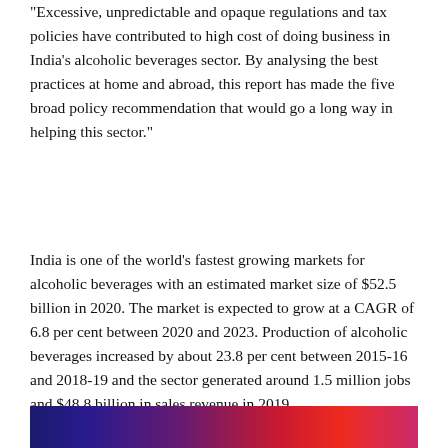"Excessive, unpredictable and opaque regulations and tax policies have contributed to high cost of doing business in India’s alcoholic beverages sector. By analysing the best practices at home and abroad, this report has made the five broad policy recommendation that would go a long way in helping this sector."
India is one of the world’s fastest growing markets for alcoholic beverages with an estimated market size of $52.5 billion in 2020. The market is expected to grow at a CAGR of 6.8 per cent between 2020 and 2023. Production of alcoholic beverages increased by about 23.8 per cent between 2015-16 and 2018-19 and the sector generated around 1.5 million jobs and $48.8 billion in sales revenue in 2019.
[Figure (photo): Partial view of a colorful image strip at the bottom of the page, showing a gradient from dark blue/purple to red tones, likely a cropped photograph related to the alcoholic beverages sector.]